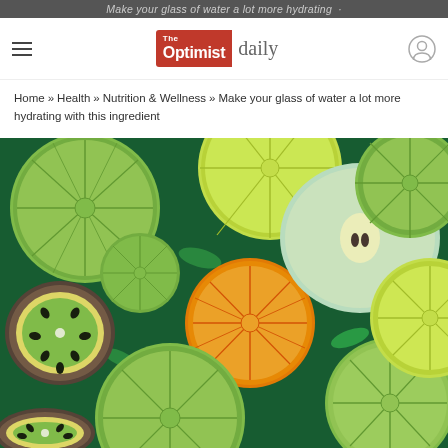Make your glass of water a lot more hydrating
[Figure (logo): The Optimist Daily logo — red box with white text 'The Optimist' and grey italic 'daily' text]
Home » Health » Nutrition & Wellness » Make your glass of water a lot more hydrating with this ingredient
[Figure (photo): Overhead photo of sliced citrus fruits (limes, lemons, orange), kiwi slices, a halved green apple with mint leaves, all floating in water with green mint leaves]